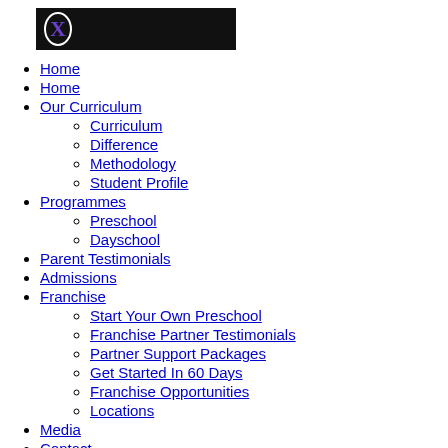[Figure (logo): Black banner with purple X logo mark]
Home
Home
Our Curriculum
Curriculum
Difference
Methodology
Student Profile
Programmes
Preschool
Dayschool
Parent Testimonials
Admissions
Franchise
Start Your Own Preschool
Franchise Partner Testimonials
Partner Support Packages
Get Started In 60 Days
Franchise Opportunities
Locations
Media
Contact